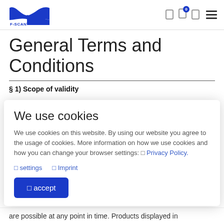F-SCAN® [logo] [nav icons]
General Terms and Conditions
§ 1) Scope of validity
We use cookies
We use cookies on this website. By using our website you agree to the usage of cookies. More information on how we use cookies and how you can change your browser settings: ☐ Privacy Policy.
☐ settings   ☐ Imprint
☐ accept
are possible at any point in time. Products displayed in